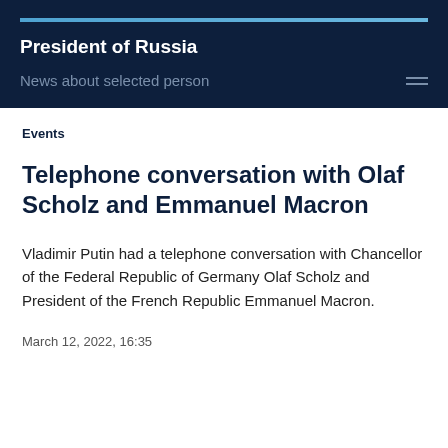President of Russia
News about selected person
Events
Telephone conversation with Olaf Scholz and Emmanuel Macron
Vladimir Putin had a telephone conversation with Chancellor of the Federal Republic of Germany Olaf Scholz and President of the French Republic Emmanuel Macron.
March 12, 2022, 16:35